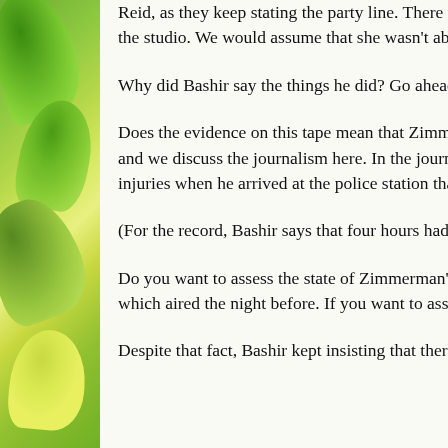[Figure (illustration): Green leaf/foliage decorative sidebar on the left side of the page]
Reid, as they keep stating the party line. There is no sign of on these tapes! In fairness to Reid, and this is important: Re the studio. We would assume that she wasn't able to see this
Why did Bashir say the things he did? Go ahead! You explai
Does the evidence on this tape mean that Zimmerman shou a crime? Not necessarily, no—it does not. But that involves and we discuss the journalism here. In the journalistic conte seem to provide the best video evidence of the state of Zimm injuries when he arrived at the police station that night.
(For the record, Bashir says that four hours had elapsed sinc shooting, the latest apparent mistake.)
Do you want to assess the state of Zimmerman's possible in close-ups provide the best video evidence—much better evi which aired the night before. If you want to assess the rathe Zimmerman's head, this seems to be where you should look
Despite that fact, Bashir kept insisting that there was nothin